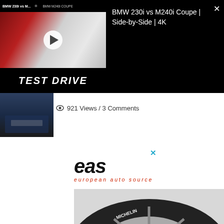[Figure (screenshot): Video thumbnail showing BMW 230i vs M240i Coupe test drive with red and white cars, play button overlay, and TEST DRIVE text at bottom]
BMW 230i vs M240i Coupe | Side-by-Side | 4K
921 Views / 3 Comments
[Figure (screenshot): Small thumbnail of a BMW rear view in dark blue]
[Figure (logo): EAS European Auto Source logo with stylized 'eas' text and tagline 'european auto source' in red]
[Figure (photo): Close-up photo of a Michelin tire on an alloy wheel]